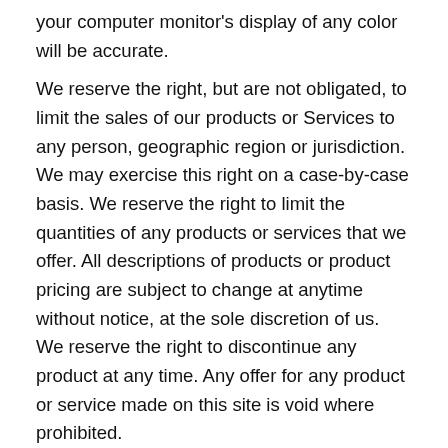your computer monitor's display of any color will be accurate.
We reserve the right, but are not obligated, to limit the sales of our products or Services to any person, geographic region or jurisdiction. We may exercise this right on a case-by-case basis. We reserve the right to limit the quantities of any products or services that we offer. All descriptions of products or product pricing are subject to change at anytime without notice, at the sole discretion of us. We reserve the right to discontinue any product at any time. Any offer for any product or service made on this site is void where prohibited.
We do not warrant that the quality of any products, services, information, or other material purchased or obtained by you will meet your expectations, or that any errors in the Service will be corrected.